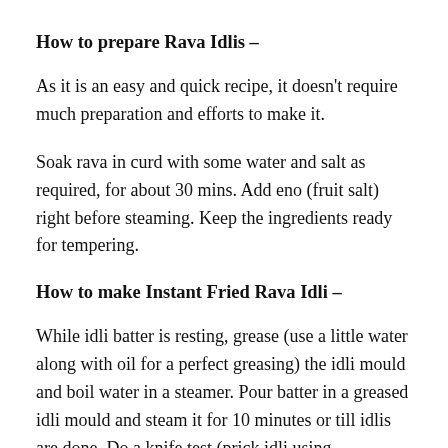How to prepare Rava Idlis –
As it is an easy and quick recipe, it doesn't require much preparation and efforts to make it.
Soak rava in curd with some water and salt as required, for about 30 mins. Add eno (fruit salt) right before steaming. Keep the ingredients ready for tempering.
How to make Instant Fried Rava Idli –
While idli batter is resting, grease (use a little water along with oil for a perfect greasing) the idli mould and boil water in a steamer. Pour batter in a greased idli mould and steam it for 10 minutes or till idlis are done. Do a knife test (prick idli using